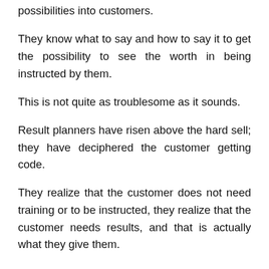possibilities into customers.
They know what to say and how to say it to get the possibility to see the worth in being instructed by them.
This is not quite as troublesome as it sounds.
Result planners have risen above the hard sell; they have deciphered the customer getting code.
They realize that the customer does not need training or to be instructed, they realize that the customer needs results, and that is actually what they give them.
The outcome specialist gets the customer joined by selling the customer the outcomes that they will accomplish from being trained instead of selling